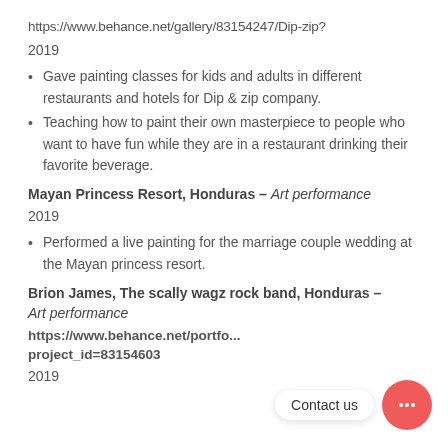https://www.behance.net/gallery/83154247/Dip-zip?
2019
Gave painting classes for kids and adults in different restaurants and hotels for Dip & zip company.
Teaching how to paint their own masterpiece to people who want to have fun while they are in a restaurant drinking their favorite beverage.
Mayan Princess Resort, Honduras – Art performance
2019
Performed a live painting for the marriage couple wedding at the Mayan princess resort.
Brion James, The scally wagz rock band, Honduras – Art performance
https://www.behance.net/portfo... project_id=83154603
2019